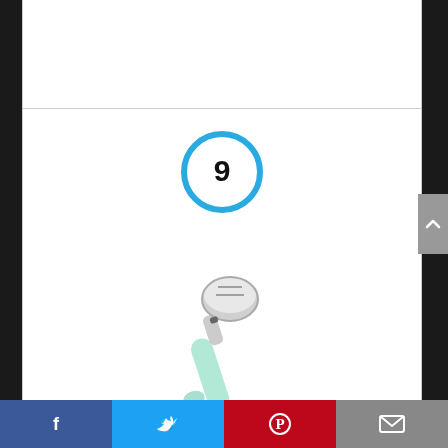[Figure (other): Number 9 inside a blue circle ring indicator]
[Figure (photo): Spring Chef ice cream scoop with mint colored comfortable handle and silver metal scoop head]
Spring Chef Ice Cream Scoop with Comfortable Handle, Mint
Social sharing bar with Facebook, Twitter, Pinterest, and Email icons